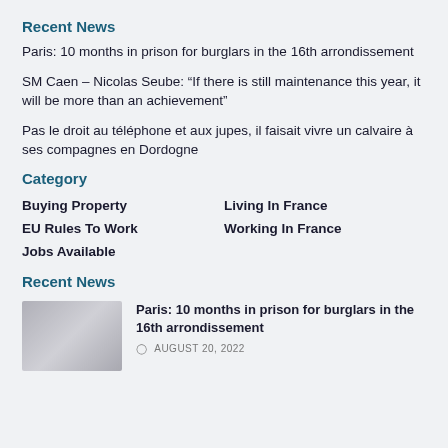Recent News
Paris: 10 months in prison for burglars in the 16th arrondissement
SM Caen – Nicolas Seube: “If there is still maintenance this year, it will be more than an achievement”
Pas le droit au téléphone et aux jupes, il faisait vivre un calvaire à ses compagnes en Dordogne
Category
Buying Property
Living In France
EU Rules To Work
Working In France
Jobs Available
Recent News
[Figure (photo): Thumbnail photo for the news article about Paris burglars]
Paris: 10 months in prison for burglars in the 16th arrondissement
AUGUST 20, 2022